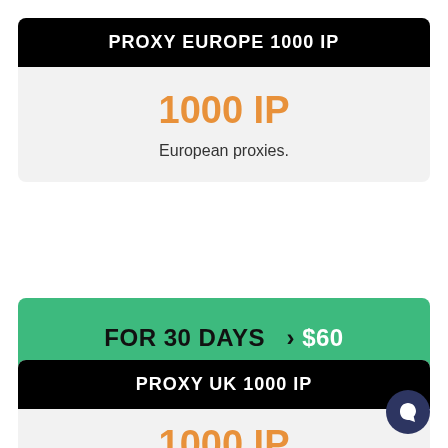PROXY EUROPE 1000 IP
1000 IP
European proxies.
FOR 30 DAYS  › $60
PROXY UK 1000 IP
1000 IP
UK proxies only.